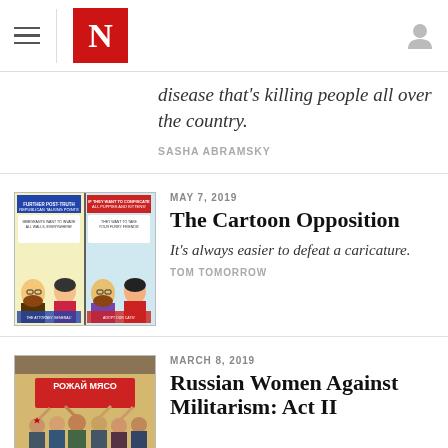The Nation — N logo, hamburger menu, user icon
disease that's killing people all over the country.
SASHA ABRAMSKY
[Figure (illustration): Comic strip showing two panels with characters discussing post-truth Republican talking points about puppies and kittens]
MAY 7, 2019
The Cartoon Opposition
It's always easier to defeat a caricature.
TOM TOMORROW
[Figure (photo): Russian women protesters holding a banner that reads РОЖАЙ МЯСО (Give Birth to Meat)]
MARCH 8, 2019
Russian Women Against Militarism: Act II